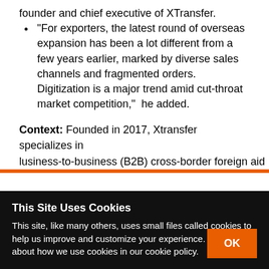founder and chief executive of XTransfer.
“For exporters, the latest round of overseas expansion has been a lot different from a few years earlier, marked by diverse sales channels and fragmented orders. Digitization is a major trend amid cut-throat market competition,”  he added.
Context: Founded in 2017, Xtransfer specializes in
(B2B) ...
This Site Uses Cookies
This site, like many others, uses small files called cookies to help us improve and customize your experience. Learn more about how we use cookies in our cookie policy.
OK